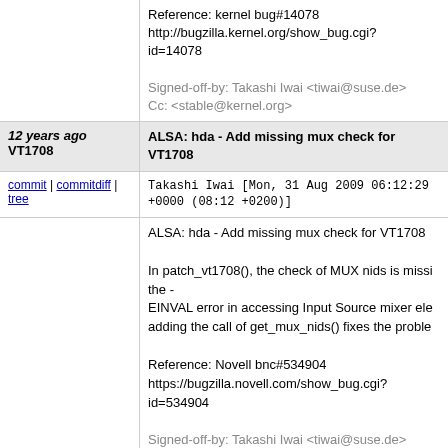Reference: kernel bug#14078 http://bugzilla.kernel.org/show_bug.cgi?id=14078

Signed-off-by: Takashi Iwai <tiwai@suse.de>
Cc: <stable@kernel.org>
12 years ago VT1708 — ALSA: hda - Add missing mux check for VT1708
commit | commitdiff | tree   Takashi Iwai [Mon, 31 Aug 2009 06:12:29 +0000 (08:12 +0200)]
ALSA: hda - Add missing mux check for VT1708

In patch_vt1708(), the check of MUX nids is missing the -
EINVAL error in accessing Input Source mixer element by
adding the call of get_mux_nids() fixes the problem.

Reference: Novell bnc#534904
https://bugzilla.novell.com/show_bug.cgi?id=534904

Signed-off-by: Takashi Iwai <tiwai@suse.de>
12 years ago gspca sn9c20x name style — V4L/DVB (12564a): MAINTAINERS: Update gspca sn9c20x name style
commit | commitdiff | tree   Joe Perches [Sun, 16 Aug 2009 23:03:51